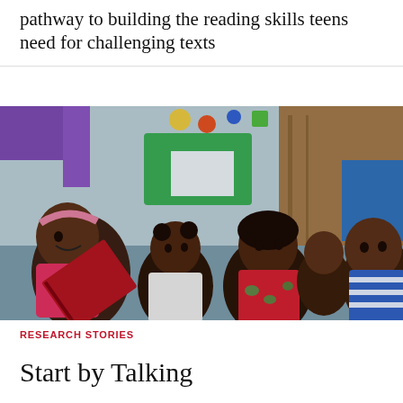pathway to building the reading skills teens need for challenging texts
[Figure (photo): Children sitting together and listening to a story being read from a book in a colorful classroom setting]
RESEARCH STORIES
Start by Talking